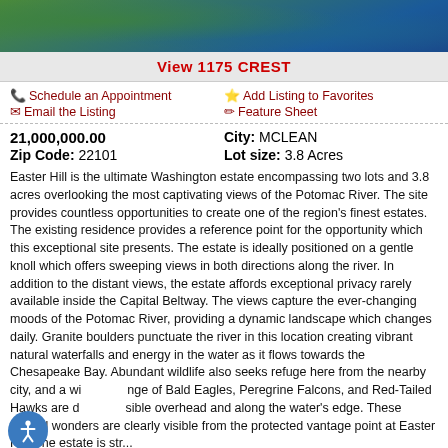[Figure (photo): Aerial photo of Potomac River with green trees and blue water]
View 1175 CREST
Schedule an Appointment  Add Listing to Favorites  Email the Listing  Feature Sheet
21,000,000.00   City: MCLEAN   Zip Code: 22101   Lot size: 3.8 Acres
Easter Hill is the ultimate Washington estate encompassing two lots and 3.8 acres overlooking the most captivating views of the Potomac River. The site provides countless opportunities to create one of the region's finest estates. The existing residence provides a reference point for the opportunity which this exceptional site presents. The estate is ideally positioned on a gentle knoll which offers sweeping views in both directions along the river. In addition to the distant views, the estate affords exceptional privacy rarely available inside the Capital Beltway. The views capture the ever-changing moods of the Potomac River, providing a dynamic landscape which changes daily. Granite boulders punctuate the river in this location creating vibrant natural waterfalls and energy in the water as it flows towards the Chesapeake Bay. Abundant wildlife also seeks refuge here from the nearby city, and a wide range of Bald Eagles, Peregrine Falcons, and Red-Tailed Hawks are clearly visible overhead and along the water's edge. These natural wonders are clearly visible from the protected vantage point at Easter Hill. The estate is strategically located by the owner for the...